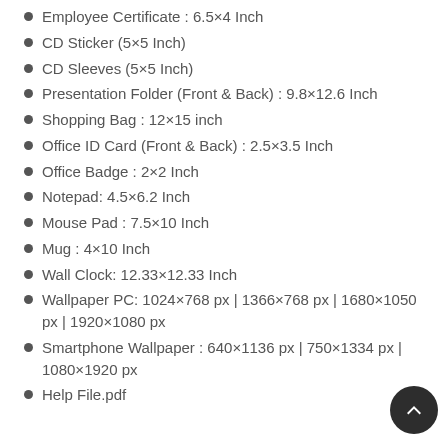Employee Certificate : 6.5×4 Inch
CD Sticker (5×5 Inch)
CD Sleeves (5×5 Inch)
Presentation Folder (Front & Back) : 9.8×12.6 Inch
Shopping Bag : 12×15 inch
Office ID Card (Front & Back) : 2.5×3.5 Inch
Office Badge : 2×2 Inch
Notepad: 4.5×6.2 Inch
Mouse Pad : 7.5×10 Inch
Mug : 4×10 Inch
Wall Clock: 12.33×12.33 Inch
Wallpaper PC: 1024×768 px | 1366×768 px | 1680×1050 px | 1920×1080 px
Smartphone Wallpaper : 640×1136 px | 750×1334 px | 1080×1920 px
Help File.pdf